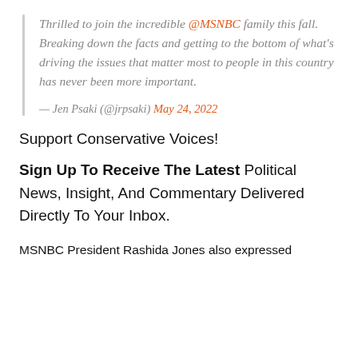Thrilled to join the incredible @MSNBC family this fall. Breaking down the facts and getting to the bottom of what's driving the issues that matter most to people in this country has never been more important.

— Jen Psaki (@jrpsaki) May 24, 2022
Support Conservative Voices!
Sign Up To Receive The Latest Political News, Insight, And Commentary Delivered Directly To Your Inbox.
MSNBC President Rashida Jones also expressed